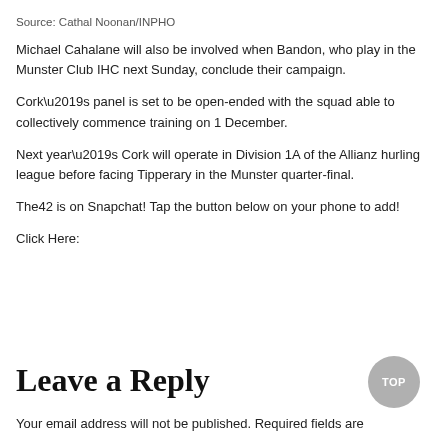Source: Cathal Noonan/INPHO
Michael Cahalane will also be involved when Bandon, who play in the Munster Club IHC next Sunday, conclude their campaign.
Cork’s panel is set to be open-ended with the squad able to collectively commence training on 1 December.
Next year’s Cork will operate in Division 1A of the Allianz hurling league before facing Tipperary in the Munster quarter-final.
The42 is on Snapchat! Tap the button below on your phone to add!
Click Here:
Leave a Reply
Your email address will not be published. Required fields are